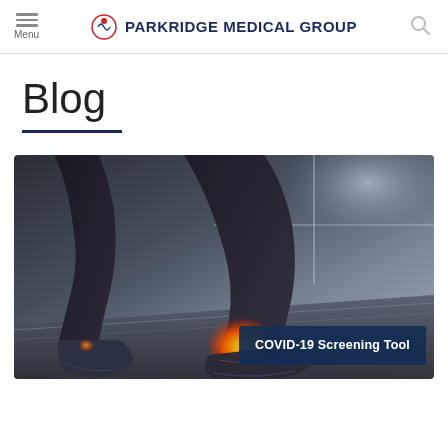Menu | Parkridge Medical Group
Blog
[Figure (photo): Close-up photo of a runner's feet/ankles on a treadmill, with glowing orange highlight on the ankle joint suggesting pain or injury visualization.]
COVID-19 Screening Tool